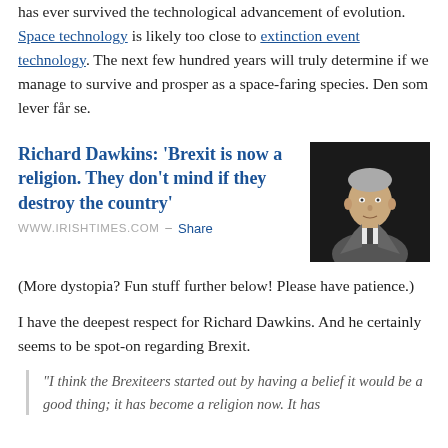has ever survived the technological advancement of evolution. Space technology is likely too close to extinction event technology. The next few hundred years will truly determine if we manage to survive and prosper as a space-faring species. Den som lever får se.
Richard Dawkins: 'Brexit is now a religion. They don't mind if they destroy the country'
[Figure (photo): Photo of Richard Dawkins, an older man in a grey suit against a dark background]
WWW.IRISHTIMES.COM – Share
(More dystopia? Fun stuff further below! Please have patience.)
I have the deepest respect for Richard Dawkins. And he certainly seems to be spot-on regarding Brexit.
"I think the Brexiteers started out by having a belief it would be a good thing; it has become a religion now. It has